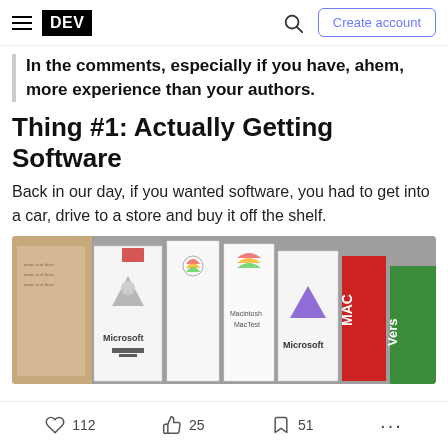DEV | Create account
In the comments, especially if you have, ahem, more experience than your authors.
Thing #1: Actually Getting Software
Back in our day, if you wanted software, you had to get into a car, drive to a store and buy it off the shelf.
[Figure (photo): Photo of several vintage software boxes on a shelf, including Microsoft branded boxes and Apple branded boxes.]
112 likes | 25 reactions | 51 bookmarks